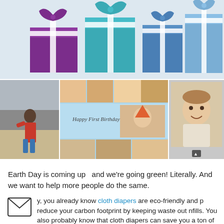[Figure (illustration): Colorful gift boxes illustration with purple, teal, and blue wrapped presents with white ribbons on light blue background]
[Figure (photo): Three photos side by side: left shows a child playing in sand, center shows a Happy First Birthday photo collage with baby cake smash photos, right shows a vintage-style baby portrait]
Earth Day is coming up  and we're going green! Literally. And we want to help more people do the same.
y, you already know cloth diapers are eco-friendly and p reduce your carbon footprint by keeping waste out nfills. You also probably know that cloth diapers can save you a ton of money! So why not share all the great benefits of cloth diapering in honor of Earth Day and help...